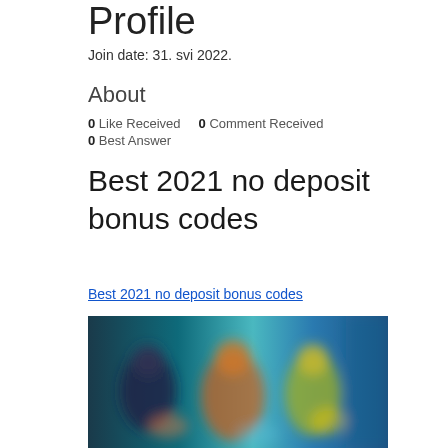Profile
Join date: 31. svi 2022.
About
0 Like Received   0 Comment Received
0 Best Answer
Best 2021 no deposit bonus codes
Best 2021 no deposit bonus codes
[Figure (photo): Blurred screenshot of an online casino or gaming website showing colorful characters on a teal/blue background]